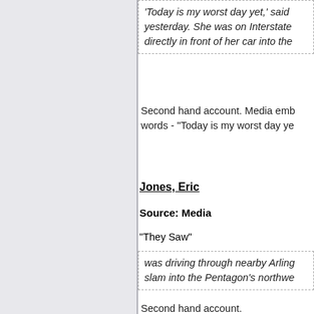'Today is my worst day yet,' said yesterday. She was on Interstate directly in front of her car into the
Second hand account. Media emb words - "Today is my worst day ye
Jones, Eric
Source: Media
"They Saw"
was driving through nearby Arling slam into the Pentagon's northwe
Second hand account.